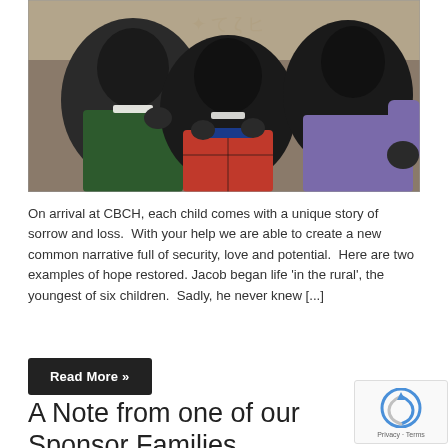[Figure (photo): Three smiling African children posing together; the center child wears a red Spider-Man shirt, the left child wears a dark green top, and the right child wears a purple long-sleeve shirt. Background shows a decorated wall.]
On arrival at CBCH, each child comes with a unique story of sorrow and loss.  With your help we are able to create a new common narrative full of security, love and potential.  Here are two examples of hope restored. Jacob began life ‘in the rural’, the youngest of six children.  Sadly, he never knew […]
Read More »
A Note from one of our Sponsor Families